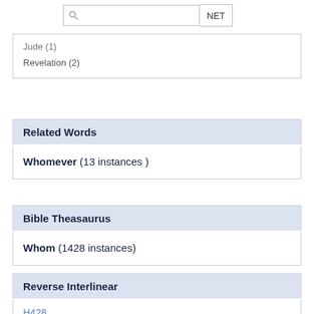[Figure (screenshot): Search bar with magnifying glass icon and NET button]
Jude (1)
Revelation (2)
Related Words
Whomever (13 instances )
Bible Theasaurus
Whom (1428 instances)
Reverse Interlinear
H428
אלה